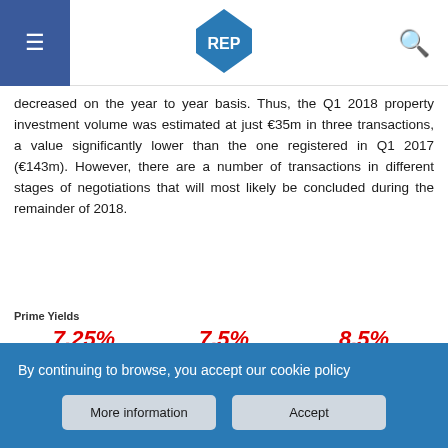REP
decreased on the year to year basis. Thus, the Q1 2018 property investment volume was estimated at just €35m in three transactions, a value significantly lower than the one registered in Q1 2017 (€143m). However, there are a number of transactions in different stages of negotiations that will most likely be concluded during the remainder of 2018.
[Figure (infographic): Prime Yields infographic showing three asset classes: Shopping Centre 7.25%, Office 7.5%, Industrial 8.5%, each with an icon below the percentage value.]
Romania Investment Volumes (€ million)
By continuing to browse, you accept our cookie policy